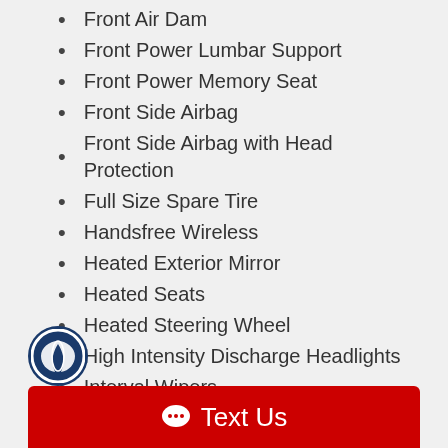Front Air Dam
Front Power Lumbar Support
Front Power Memory Seat
Front Side Airbag
Front Side Airbag with Head Protection
Full Size Spare Tire
Handsfree Wireless
Heated Exterior Mirror
Heated Seats
Heated Steering Wheel
High Intensity Discharge Headlights
Interval Wipers
Keyless Entry
Leather Seat
Leather Seats
Leather Steering Wheel
Limited Slip Differential
[Figure (logo): Circular logo icon in bottom left corner]
Text Us